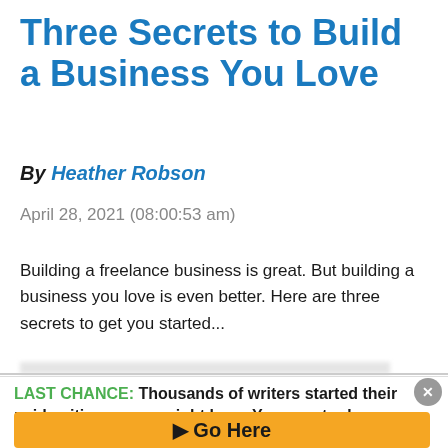Three Secrets to Build a Business You Love
By Heather Robson
April 28, 2021 (08:00:53 am)
Building a freelance business is great. But building a business you love is even better. Here are three secrets to get you started...
LAST CHANCE: Thousands of writers started their paid writing careers right here. You can, too!
▶ Go Here